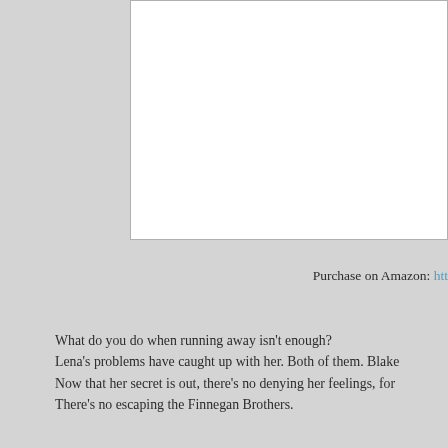[Figure (other): White panel/page area, likely a book cover or image placeholder, positioned in upper right portion of the page against a gray background]
Purchase on Amazon: htt
What do you do when running away isn't enough?
Lena's problems have caught up with her. Both of them. Blake
Now that her secret is out, there's no denying her feelings, for
There's no escaping the Finnegan Brothers.